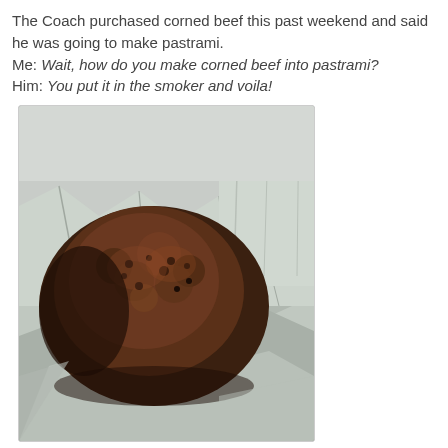The Coach purchased corned beef this past weekend and said he was going to make pastrami.
Me: Wait, how do you make corned beef into pastrami?
Him: You put it in the smoker and voila!
[Figure (photo): A large smoked corned beef / pastrami sitting on crinkled aluminum foil, with a dark spice-crusted exterior, shot in natural light from above.]